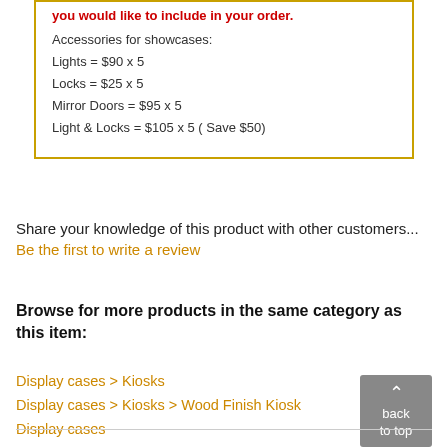you would like to include in your order.
Accessories for showcases:
Lights = $90 x 5
Locks = $25 x 5
Mirror Doors = $95 x 5
Light & Locks = $105 x 5 ( Save $50)
Share your knowledge of this product with other customers...
Be the first to write a review
Browse for more products in the same category as this item:
Display cases > Kiosks
Display cases > Kiosks > Wood Finish Kiosk
Display cases